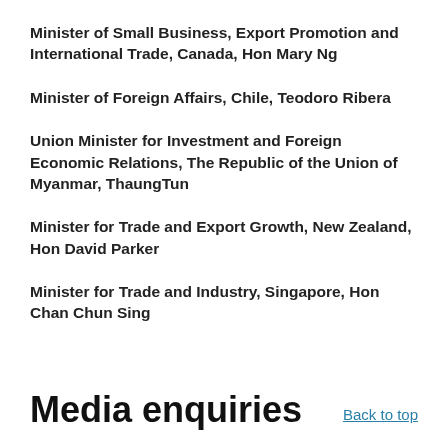Minister of Small Business, Export Promotion and International Trade, Canada, Hon Mary Ng
Minister of Foreign Affairs, Chile, Teodoro Ribera
Union Minister for Investment and Foreign Economic Relations, The Republic of the Union of Myanmar, ThaungTun
Minister for Trade and Export Growth, New Zealand, Hon David Parker
Minister for Trade and Industry, Singapore, Hon Chan Chun Sing
Media enquiries
Back to top